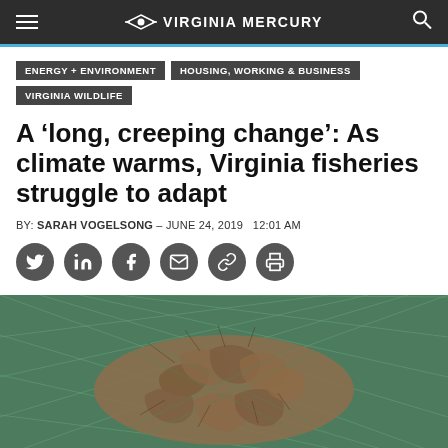VIRGINIA MERCURY
ENERGY + ENVIRONMENT
HOUSING, WORKING & BUSINESS
VIRGINIA WILDLIFE
A ‘long, creeping change’: As climate warms, Virginia fisheries struggle to adapt
BY: SARAH VOGELSONG – JUNE 24, 2019   12:01 AM
[Figure (photo): A green mesh net containing a large pile of shrimp]